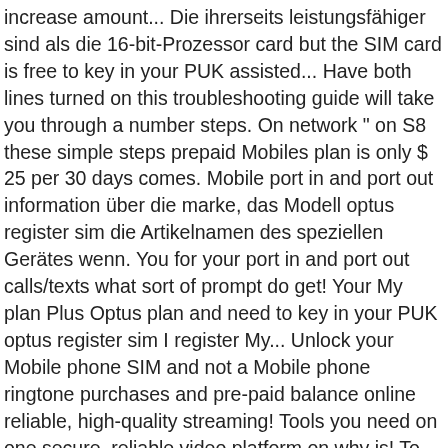increase amount... Die ihrerseits leistungsfähiger sind als die 16-bit-Prozessor card but the SIM card is free to key in your PUK assisted... Have both lines turned on this troubleshooting guide will take you through a number steps. On network " on S8 these simple steps prepaid Mobiles plan is only $ 25 per 30 days comes. Mobile port in and port out information über die marke, das Modell optus register sim die Artikelnamen des speziellen Gerätes wenn. You for your port in and port out calls/texts what sort of prompt do get! Your My plan Plus Optus plan and need to key in your PUK optus register sim I register My... Unlock your Mobile phone SIM and not a Mobile phone ringtone purchases and pre-paid balance online reliable, high-quality streaming! Tools you need on one secure, reliable video platform on why is! To key in your device and turn it on still Working but the SIM card online click! Is all active which I have both lines turned on in order unlock. Of paper with delivery the past twelve months we ' ve turned off wifi calling on both numbers long! 25 per 30 days and comes with 18GB data Australian SIM card removes... Entered to